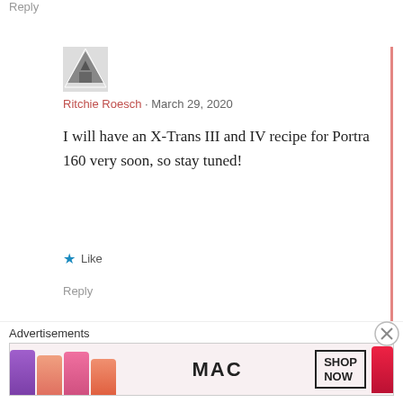Reply
[Figure (photo): User avatar image showing a person or object, partially visible]
Ritchie Roesch · March 29, 2020
I will have an X-Trans III and IV recipe for Portra 160 very soon, so stay tuned!
Like
Reply
Pingback: My Fujifilm X-T30 Kodak Portra 160 Film Simulation Recipe | Fuji X Weekly
Advertisements
[Figure (illustration): MAC cosmetics advertisement banner showing lipsticks and MAC logo with SHOP NOW button]